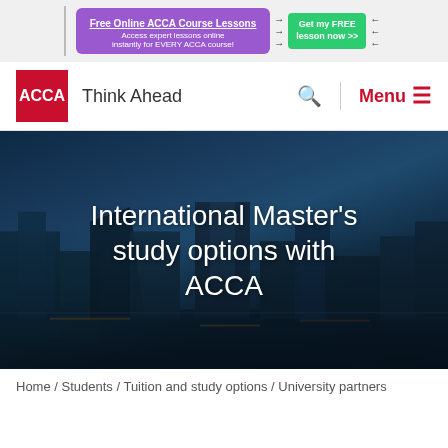[Figure (screenshot): Advertisement banner for free online ACCA course lessons on purple background with green CTA button]
[Figure (logo): ACCA logo — red square with white ACCA text, tagline Think Ahead, search icon and Menu button]
[Figure (photo): Hero image of a city waterfront at night with reflections, overlaid with large white text: International Master's study options with ACCA]
International Master's study options with ACCA
Home / Students / Tuition and study options / University partners